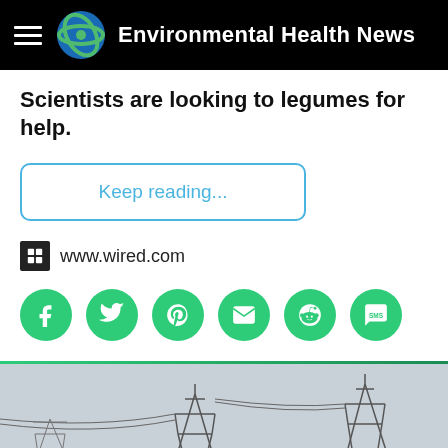Environmental Health News
Scientists are looking to legumes for help.
Keep reading...
www.wired.com
[Figure (other): Social share buttons: Facebook, Twitter, Pinterest, Email, Reddit, SMS]
[Figure (photo): Photo of electrical power transmission towers against a grey sky]